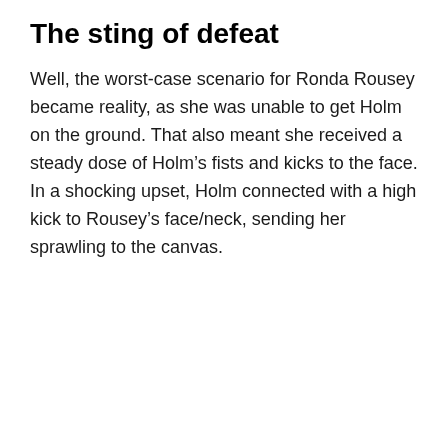The sting of defeat
Well, the worst-case scenario for Ronda Rousey became reality, as she was unable to get Holm on the ground. That also meant she received a steady dose of Holm’s fists and kicks to the face. In a shocking upset, Holm connected with a high kick to Rousey’s face/neck, sending her sprawling to the canvas.